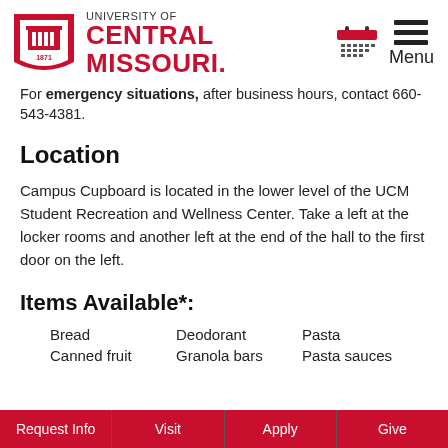[Figure (logo): University of Central Missouri logo with shield/crest and red text]
For emergency situations, after business hours, contact 660-543-4381.
Location
Campus Cupboard is located in the lower level of the UCM Student Recreation and Wellness Center. Take a left at the locker rooms and another left at the end of the hall to the first door on the left.
Items Available*:
Bread
Deodorant
Pasta
Canned fruit
Granola bars
Pasta sauces
Request Info   Visit   Apply   Give